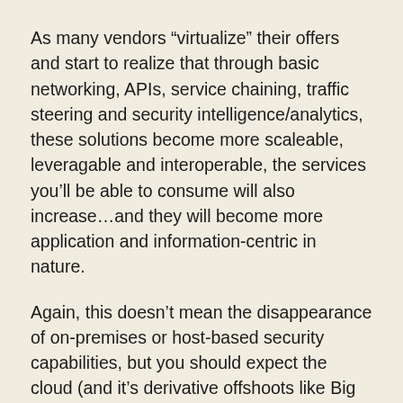As many vendors “virtualize” their offers and start to realize that through basic networking, APIs, service chaining, traffic steering and security intelligence/analytics, these solutions become more scaleable, leveragable and interoperable, the services you’ll be able to consume will also increase…and they will become more application and information-centric in nature.
Again, this doesn’t mean the disappearance of on-premises or host-based security capabilities, but you should expect the cloud (and it’s derivative offshoots like Big Data) to deliver some really awesome hybrid security capabilities that make your life easier.  Rich Mogull (@rmogull) and I gave about 20 examples of this in our “Grilling Cloudicorns: Mythical CloudSec Tools You Can Use Today” at RSA last month.
Get ready because while security folks often eye “The